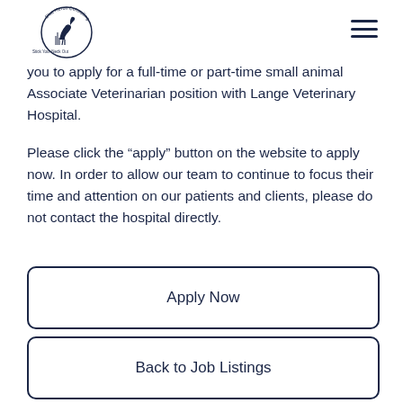Blue Heron Consulting — Stick Your Neck Out
you to apply for a full-time or part-time small animal Associate Veterinarian position with Lange Veterinary Hospital.
Please click the “apply” button on the website to apply now. In order to allow our team to continue to focus their time and attention on our patients and clients, please do not contact the hospital directly.
Apply Now
Back to Job Listings